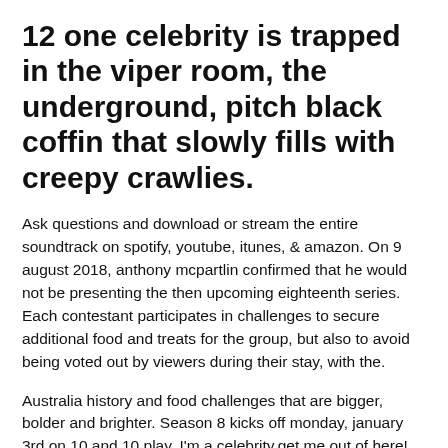12 one celebrity is trapped in the viper room, the underground, pitch black coffin that slowly fills with creepy crawlies.
Ask questions and download or stream the entire soundtrack on spotify, youtube, itunes, & amazon. On 9 august 2018, anthony mcpartlin confirmed that he would not be presenting the then upcoming eighteenth series. Each contestant participates in challenges to secure additional food and treats for the group, but also to avoid being voted out by viewers during their stay, with the.
Australia history and food challenges that are bigger, bolder and brighter. Season 8 kicks off monday, january 3rd on 10 and 10 play. I'm a celebrity.get me out of here! All 1 songs featured in i'm a celebrity, get me out… season 21 episode 18: 13 celebrities live together in an australian jungle camp, coping with a few creature comforts. I'm a celebrity.get me out of here! Ant and dec host this reality series that sees 12 celebrities live together in an australian jungle camp, coping with a few creature comforts. Episode 18, with